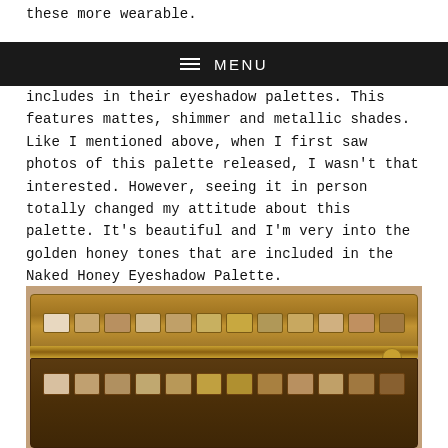these more wearable.
≡ MENU
includes in their eyeshadow palettes. This features mattes, shimmer and metallic shades. Like I mentioned above, when I first saw photos of this palette released, I wasn't that interested. However, seeing it in person totally changed my attitude about this palette. It's beautiful and I'm very into the golden honey tones that are included in the Naked Honey Eyeshadow Palette.
[Figure (photo): Urban Decay Naked Honey Eyeshadow Palette shown open from above, displaying rows of golden and warm-toned eyeshadow shades in a dark brown palette case with gold accents.]